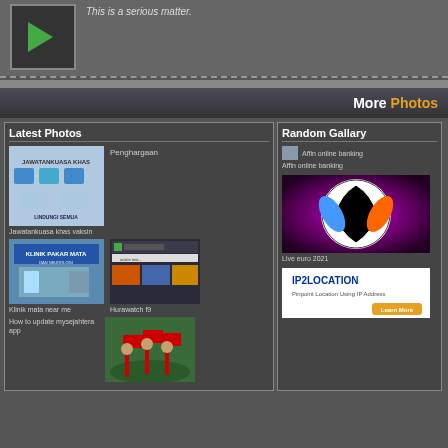This is a serious matter.
More Photos
Latest Photos
[Figure (photo): Jawatankuasa khas vaksin - vaccination committee infographic]
Jawatankuasa khas vaksin
Penghargaan
[Figure (photo): Klinik mata near me - eye clinic exterior photo]
Klinik mata near me
[Figure (screenshot): Hurawatch f9 - website screenshot]
Hurawatch f9
How to update mysejahtera app
[Figure (photo): Protest/rally photo]
Random Gallary
[Figure (photo): Affin online banking]
Affin online banking
[Figure (photo): Live euro 2021 - soccer ball graphic]
Live euro 2021
[Figure (screenshot): IP2Location - Find location using IP address]